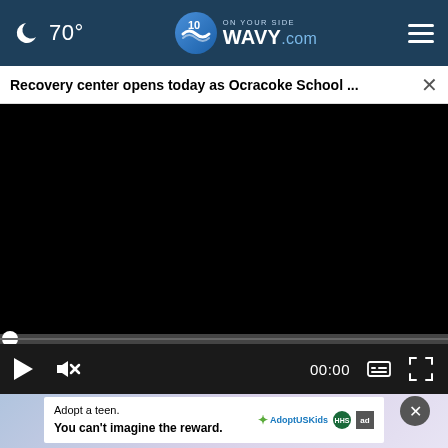70° | WAVY.com On Your Side
Recovery center opens today as Ocracoke School ...
[Figure (screenshot): Black video player area with playback controls showing 00:00 timecode, play button, mute button, captions button, and fullscreen button on a dark control bar with a progress bar above it.]
[Figure (photo): Advertisement banner showing a teen adoption promotion: 'Adopt a teen. You can't imagine the reward.' with AdoptUSKids and HHS/ad logos.]